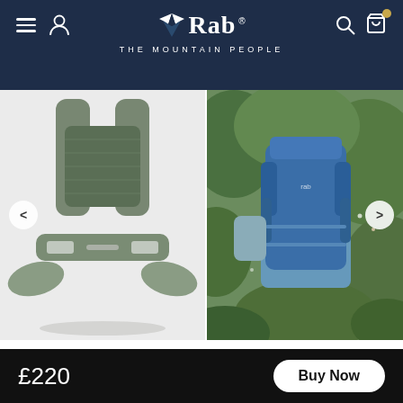Rab — THE MOUNTAIN PEOPLE — navigation header
[Figure (screenshot): Product image carousel showing two images: left panel shows back of a green backpack harness/hip belt on white background, right panel shows a person wearing a blue Rab backpack outdoors among wildflowers]
What It's Best For
£220  Buy Now